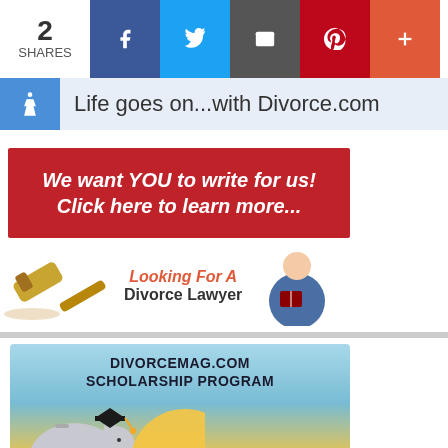[Figure (infographic): Social share bar with count '2 SHARES' and buttons: Facebook, Twitter, Email, Pinterest, More (+)]
[Figure (infographic): Accessibility icon (wheelchair) in blue square, followed by site tagline 'Life goes on...with Divorce.com' on light blue background]
[Figure (infographic): Red banner advertisement: 'We want YOU to write for us! Click here to learn more...' in white bold italic text]
[Figure (infographic): Advertisement for divorce lawyer with gavel image on left and lawyer image on right, text 'Looking For A Divorce Lawyer']
[Figure (infographic): DivorceMag.com Scholarship Program advertisement with piggy bank wearing graduation cap on blue/yellow gradient background]
[Figure (infographic): Bottom banner ad: 'Fairfax Top-Rated Divorce Lawyer / Thoughtful · Thorough · Trusted' in blue with WM logo, close X button]